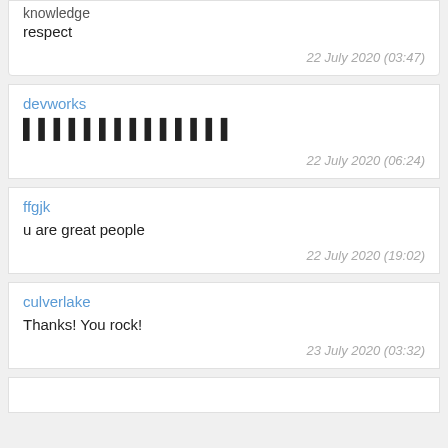knowledge
respect
22 July 2020 (03:47)
devworks
▌▌▌▌▌▌▌▌▌▌▌▌▌▌
22 July 2020 (06:24)
ffgjk
u are great people
22 July 2020 (19:02)
culverlake
Thanks! You rock!
23 July 2020 (03:32)